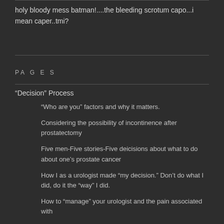holy bloody mess batman!....the bleeding scrotum capo...i mean caper..tmi?
PAGES
“Decision” Process
“Who are you” factors and why it matters.
Considering the possibility of incontinence after prostatectomy
Five men-Five stories-Five deicisions about what to do about one’s prostate cancer
How I as a urologist made “my decision.” Don’t do what I did, do it the “way” I did.
How to “manage” your urologist and the pain associated with